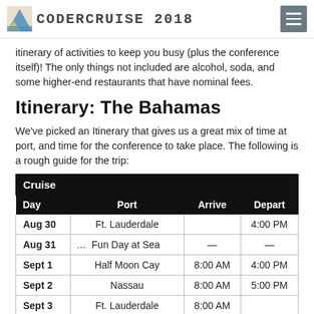CODERCRUISE 2018
itinerary of activities to keep you busy (plus the conference itself)!  The only things not included are alcohol, soda, and some higher-end restaurants that have nominal fees.
Itinerary: The Bahamas
We've picked an Itinerary that gives us a great mix of time at port, and time for the conference to take place. The following is a rough guide for the trip:
| Day | Port | Arrive | Depart |
| --- | --- | --- | --- |
| Aug 30 | Ft. Lauderdale |  | 4:00 PM |
| Aug 31 | … Fun Day at Sea | — | — |
| Sept 1 | Half Moon Cay | 8:00 AM | 4:00 PM |
| Sept 2 | Nassau | 8:00 AM | 5:00 PM |
| Sept 3 | Ft. Lauderdale | 8:00 AM |  |